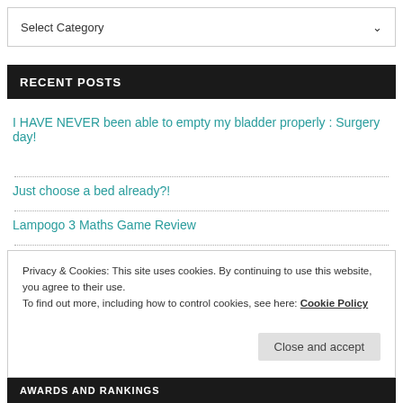[Figure (screenshot): Dropdown selector showing 'Select Category' with a chevron arrow on the right]
RECENT POSTS
I HAVE NEVER been able to empty my bladder properly : Surgery day!
Just choose a bed already?!
Lampogo 3 Maths Game Review
Privacy & Cookies: This site uses cookies. By continuing to use this website, you agree to their use.
To find out more, including how to control cookies, see here: Cookie Policy
Close and accept
AWARDS AND RANKINGS